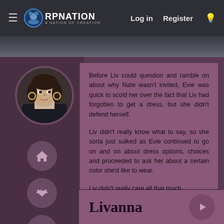RP Nation — Log in | Register
[Figure (screenshot): RPNation website navigation bar with hamburger menu, RP Nation logo, Log in and Register links, and a light bulb icon]
[Figure (photo): Circular avatar photo of a young woman with dark hair, hoop earrings, and a dark jacket]
Before Liv could question and ramble on about why Nate wasn't invited, Evie was quick to scold her over the fact that Liv had forgotten to get a dress, but she didn't defend herself.

Liv didn't really know what to say, so she sorta just sulked as Evie continued to go on and on about dress options, choices and proceeded to ask her about a certain color she'd like to wear.

Liv didn't really care all that much.

Which kinda stinked like, a lot because she used to love parties... for reasons, obviously. Parties were filled with alcohol, drugs, and... there was dancing. She could dance, that might be fun?
Livanna